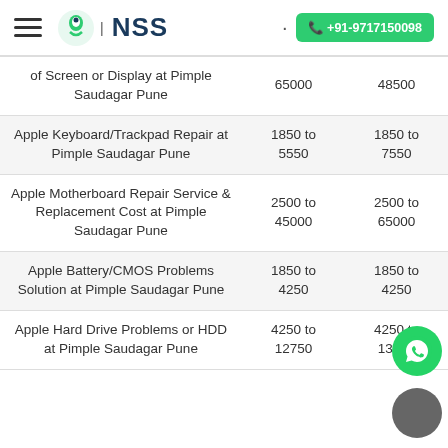NSS | +91-9717150098
| Service | Col2 | Col3 |
| --- | --- | --- |
| of Screen or Display at Pimple Saudagar Pune | 65000 | 48500 |
| Apple Keyboard/Trackpad Repair at Pimple Saudagar Pune | 1850 to 5550 | 1850 to 7550 |
| Apple Motherboard Repair Service & Replacement Cost at Pimple Saudagar Pune | 2500 to 45000 | 2500 to 65000 |
| Apple Battery/CMOS Problems Solution at Pimple Saudagar Pune | 1850 to 4250 | 1850 to 4250 |
| Apple Hard Drive Problems or HDD at Pimple Saudagar Pune | 4250 to 12750 | 4250 to 13500 |